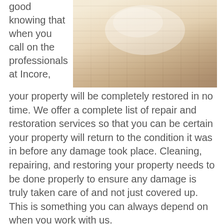good knowing that when you call on the professionals at Incore,
[Figure (photo): Photograph of a wooden parquet floor with reflective light, showing water damage restoration before/after.]
your property will be completely restored in no time. We offer a complete list of repair and restoration services so that you can be certain your property will return to the condition it was in before any damage took place. Cleaning, repairing, and restoring your property needs to be done properly to ensure any damage is truly taken care of and not just covered up. This is something you can always depend on when you work with us.
Don't Wait, Call Now!
When you are dealing with water damage, you want to